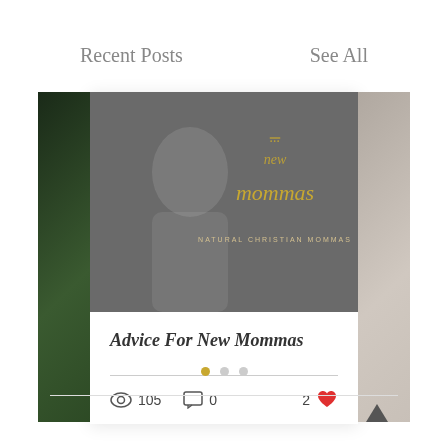Recent Posts
See All
[Figure (screenshot): Blog post card with a dark gray banner image showing a woman and gold cursive text reading 'new mommas' with 'NATURAL CHRISTIAN MOMMAS' below, and post details showing title 'Advice For New Mommas', 105 views, 0 comments, 2 likes]
Advice For New Mommas
105
0
2